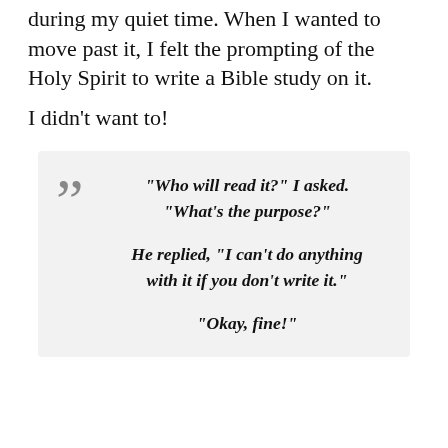The Lord led me through the Book of Hebrews during my quiet time. When I wanted to move past it, I felt the prompting of the Holy Spirit to write a Bible study on it.
I didn't want to!
“Who will read it?” I asked. “What’s the purpose?” He replied, “I can’t do anything with it if you don’t write it.” “Okay, fine!”